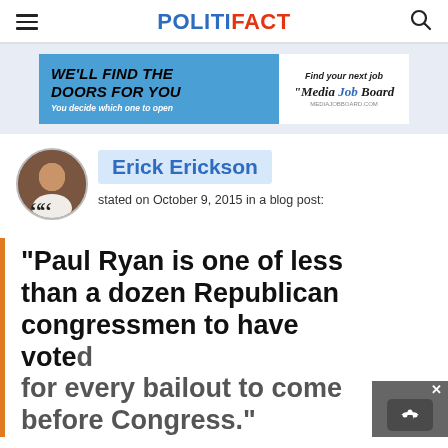POLITIFACT
[Figure (infographic): Advertisement banner: 'WE'LL FIND THE DOORS FOR YOU - You decide which one to open' with Media Job Board branding]
Erick Erickson stated on October 9, 2015 in a blog post:
"Paul Ryan is one of less than a dozen Republican congressmen to have voted for every bailout to come before Congress."